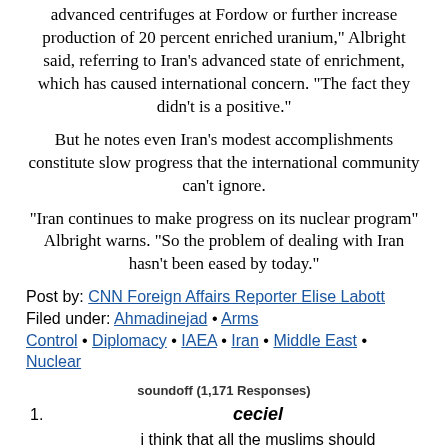advanced centrifuges at Fordow or further increase production of 20 percent enriched uranium," Albright said, referring to Iran's advanced state of enrichment, which has caused international concern. "The fact they didn't is a positive."
But he notes even Iran's modest accomplishments constitute slow progress that the international community can't ignore.
"Iran continues to make progress on its nuclear program" Albright warns. "So the problem of dealing with Iran hasn't been eased by today."
Post by: CNN Foreign Affairs Reporter Elise Labott
Filed under: Ahmadinejad • Arms Control • Diplomacy • IAEA • Iran • Middle East • Nuclear
soundoff (1,171 Responses)
1. ceciel — i think that all the muslims should go to iran and act as monkey sheilds at irans nuke sites. February 17, 2012 at 4:44 am | Reply
2. Spelunker4Plato